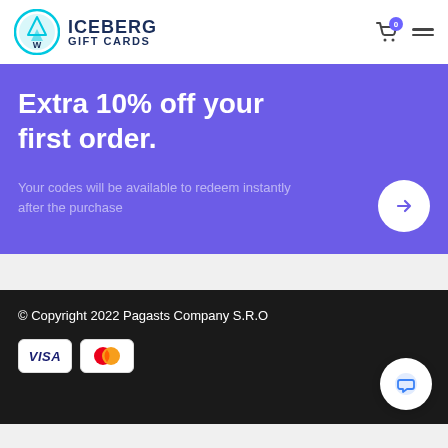ICEBERG GIFT CARDS
Extra 10% off your first order.
Your codes will be available to redeem instantly after the purchase
© Copyright 2022 Pagasts Company S.R.O